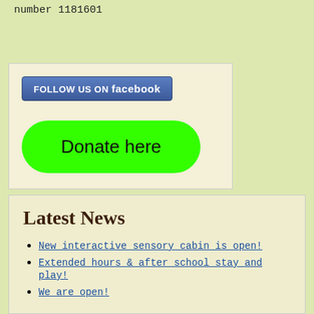number 1181601
[Figure (other): Widget box containing a Facebook follow button and a green Donate here button]
Latest News
New interactive sensory cabin is open!
Extended hours & after school stay and play!
We are open!